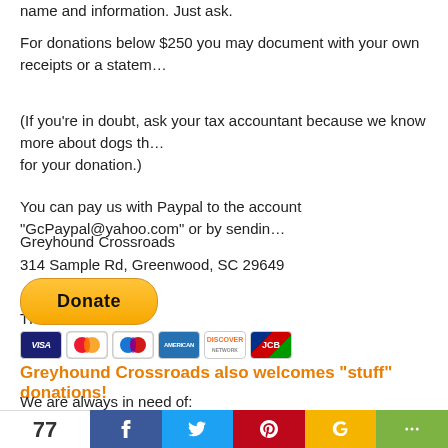name and information. Just ask.
For donations below $250 you may document with your own receipts or a statement
(If you're in doubt, ask your tax accountant because we know more about dogs than we do taxes - but we can provide a letter for your donation.)
You can pay us with Paypal to the account "GcPaypal@yahoo.com" or by sending a check made out to:
Greyhound Crossroads
314 Sample Rd, Greenwood, SC 29649
Thank You!
[Figure (other): PayPal Donate button with credit card logos (Visa, Mastercard, Maestro, AmEx, Discover, JCB)]
Greyhound Crossroads also welcomes "stuff" donations!
We are always in need of:
Feeding bowls
[Figure (other): Social sharing bar with count 77 and buttons for Facebook, Twitter, Pinterest, Google+, and more]